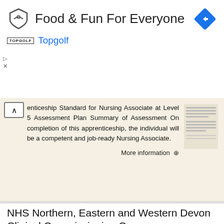[Figure (screenshot): Topgolf advertisement banner with logo, title 'Food & Fun For Everyone', Topgolf brand name, and navigation diamond icon]
enticeship Standard for Nursing Associate at Level 5 Assessment Plan Summary of Assessment On completion of this apprenticeship, the individual will be a competent and job-ready Nursing Associate.
More information →
NHS Northern, Eastern and Western Devon Clinical Commissioning Group
NHS Northern, Eastern and Western Devon Clinical Commissioning Group Final V15-Individual Package of Care policy Policy relating to the provision of NHS funded care for individual care packages for adults